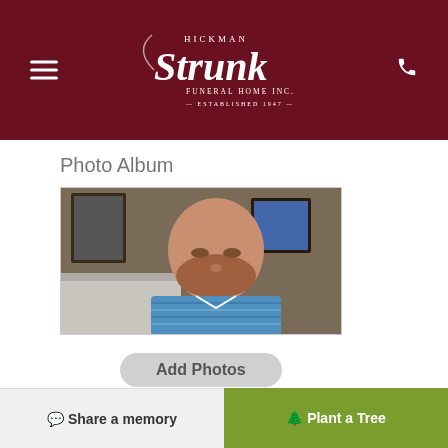Hickman Strunk Funeral Home Inc. Established 1947
Photo Album
[Figure (photo): Portrait photo of a middle-aged man with a beard wearing a blue striped polo shirt, seated indoors with framed pictures on the wall behind him.]
Add Photos
Upload up to 10 images at a time, max 8MB each
Share a memory   Plant a Tree